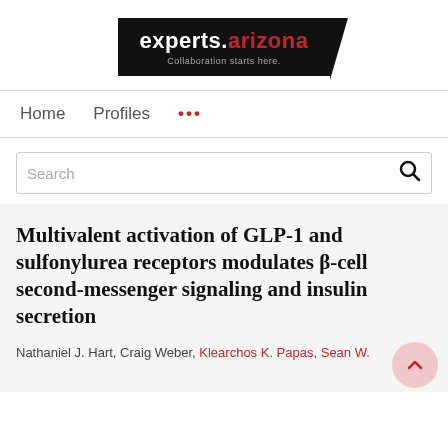[Figure (logo): experts.arizona logo — black background with white 'experts.' and red 'arizona' text, tagline 'Collaboration starts here.']
Home   Profiles   ...
Search
Multivalent activation of GLP-1 and sulfonylurea receptors modulates β-cell second-messenger signaling and insulin secretion
Nathaniel J. Hart, Craig Weber, Klearchos K. Papas, Sean W.